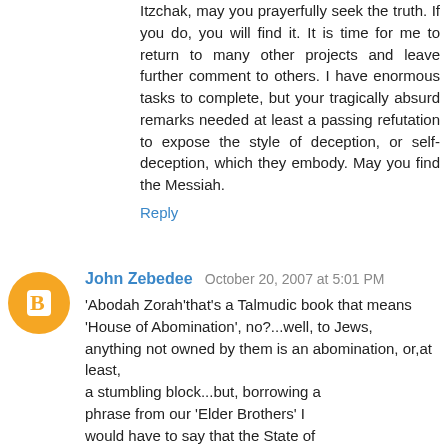Itzchak, may you prayerfully seek the truth. If you do, you will find it. It is time for me to return to many other projects and leave further comment to others. I have enormous tasks to complete, but your tragically absurd remarks needed at least a passing refutation to expose the style of deception, or self-deception, which they embody. May you find the Messiah.
Reply
John Zebedee  October 20, 2007 at 5:01 PM
'Abodah Zorah'that's a Talmudic book that means 'House of Abomination', no?...well, to Jews, anything not owned by them is an abomination, or,at least, a stumbling block...but, borrowing a phrase from our 'Elder Brothers' I would have to say that the State of Israel is 'Abodah Zorah'...maybe you could ask the 'Akun' living there, namely the Palestinians.
Reply